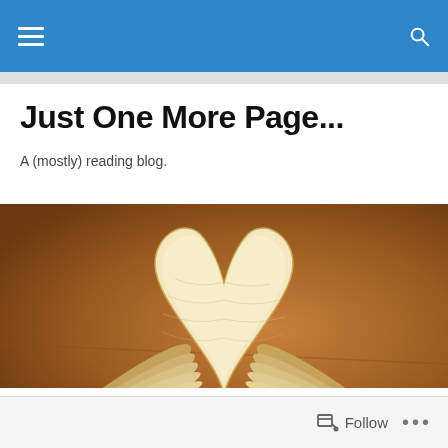Just One More Page... navigation bar
Just One More Page...
A (mostly) reading blog.
[Figure (photo): A book with its pages folded into the shape of a heart, photographed against a warm brown wooden background.]
Having a catch up...
Follow ...